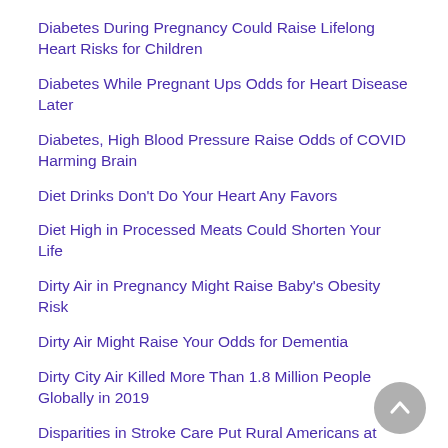Diabetes During Pregnancy Could Raise Lifelong Heart Risks for Children
Diabetes While Pregnant Ups Odds for Heart Disease Later
Diabetes, High Blood Pressure Raise Odds of COVID Harming Brain
Diet Drinks Don't Do Your Heart Any Favors
Diet High in Processed Meats Could Shorten Your Life
Dirty Air in Pregnancy Might Raise Baby's Obesity Risk
Dirty Air Might Raise Your Odds for Dementia
Dirty City Air Killed More Than 1.8 Million People Globally in 2019
Disparities in Stroke Care Put Rural Americans at Risk: Study
'Disrupted' Sleep Could Be Seriously Affecting Your Health
Do C-Section Babies Become Heavier Adults?
Do Fatter Legs Mean Lower Blood Pressure?